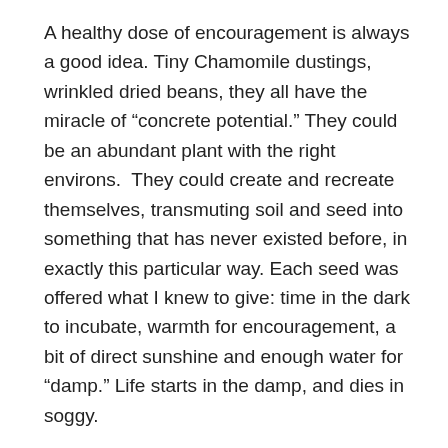A healthy dose of encouragement is always a good idea. Tiny Chamomile dustings, wrinkled dried beans, they all have the miracle of “concrete potential.” They could be an abundant plant with the right environs.  They could create and recreate themselves, transmuting soil and seed into something that has never existed before, in exactly this particular way. Each seed was offered what I knew to give: time in the dark to incubate, warmth for encouragement, a bit of direct sunshine and enough water for “damp.” Life starts in the damp, and dies in soggy.
Some of those seeds must be coiled springs, set to explode at the first moisture. As the snow swirled across my waiting garden, the Kale has